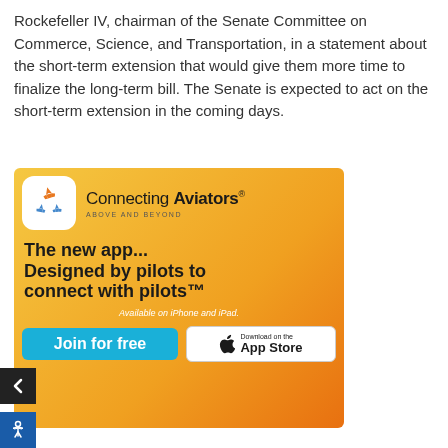Rockefeller IV, chairman of the Senate Committee on Commerce, Science, and Transportation, in a statement about the short-term extension that would give them more time to finalize the long-term bill. The Senate is expected to act on the short-term extension in the coming days.
[Figure (illustration): Advertisement for 'Connecting Aviators' app. Gold/yellow gradient background. App icon showing airplane symbols in orange and blue on white rounded square. Headline: 'The new app... Designed by pilots to connect with pilots™'. Subtext: 'Available on iPhone and iPad.' Two buttons: 'Join for free' (blue) and 'Download on the App Store' (white with Apple logo).]